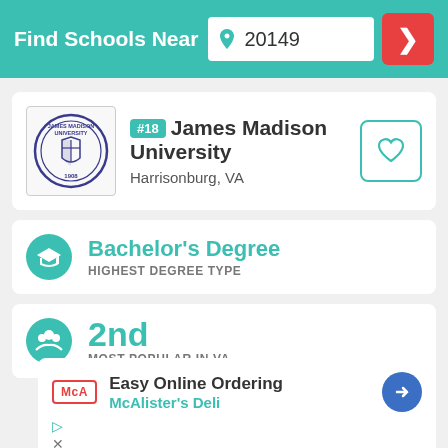Find Schools Near 20149
#18 James Madison University — Harrisonburg, VA
Bachelor's Degree — HIGHEST DEGREE TYPE
2nd — MOST POPULAR IN VA
[Figure (infographic): Advertisement: Easy Online Ordering — McAlister's Deli with McA logo and blue diamond arrow icon]